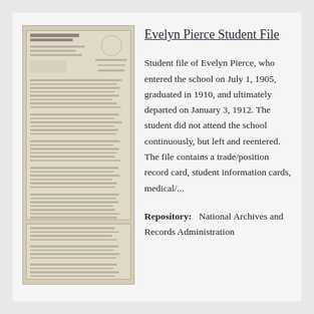[Figure (photo): A scanned historical document page showing United States Indian Schools letterhead with dense handwritten and typed text, appears to be a multi-page document with a circular seal/emblem at the top right.]
Evelyn Pierce Student File
Student file of Evelyn Pierce, who entered the school on July 1, 1905, graduated in 1910, and ultimately departed on January 3, 1912. The student did not attend the school continuously, but left and reentered. The file contains a trade/position record card, student information cards, medical/...
Repository:  National Archives and Records Administration